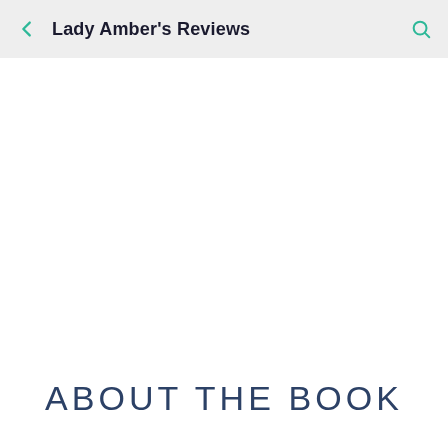Lady Amber's Reviews
ABOUT THE BOOK